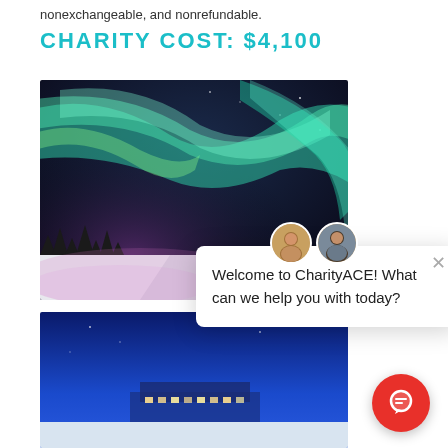nonexchangeable, and nonrefundable.
CHARITY COST: $4,100
[Figure (photo): Aurora borealis (northern lights) photograph showing green and teal lights swirling over a snowy landscape with trees and a road, with purple twilight sky]
[Figure (screenshot): Chat popup widget with two avatar photos, a close X button, and text: Welcome to CharityACE! What can we help you with today?]
[Figure (photo): Night photo with deep blue sky, showing what appears to be a ship or building with lights in a snowy setting]
[Figure (other): Red circular chat button widget in bottom right corner]